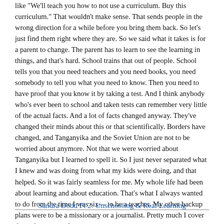like "We'll teach you how to not use a curriculum. Buy this curriculum." That wouldn't make sense. That sends people in the wrong direction for a while before you bring them back. So let's just find them right where they are. So we said what it takes is for a parent to change. The parent has to learn to see the learning in things, and that's hard. School trains that out of people. School tells you that you need teachers and you need books, you need somebody to tell you what you need to know. Then you need to have proof that you know it by taking a test. And I think anybody who's ever been to school and taken tests can remember very little of the actual facts. And a lot of facts changed anyway. They've changed their minds about this or that scientifically. Borders have changed, and Tanganyika and the Soviet Union are not to be worried about anymore. Not that we were worried about Tanganyika but I learned to spell it. So I just never separated what I knew and was doing from what my kids were doing, and that helped. So it was fairly seamless for me. My whole life had been about learning and about education. That's what I always wanted to do from the time I was six— to be a teacher. My other backup plans were to be a missionary or a journalist. Pretty much I cover those three every day.
Sandra Dodd Pt 2: Unschooling & Real Learning